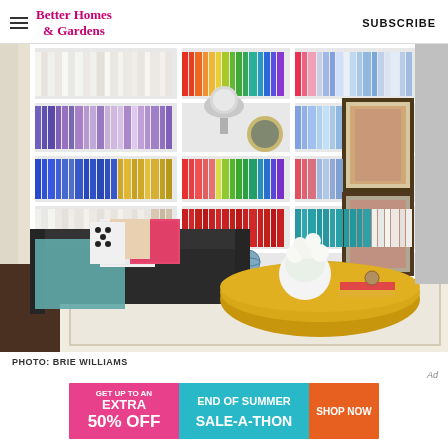Better Homes & Gardens  SUBSCRIBE
[Figure (photo): Living room with large white bookshelves filled with colorful books arranged by color, a dark sofa with colorful pillows and teal throw blanket, a round gold coffee table with white flower arrangement, and a white rug on dark hardwood floors.]
PHOTO: BRIE WILLIAMS
[Figure (infographic): Advertisement banner: GET UP TO AN EXTRA 50% OFF - END OF SUMMER SALE-A-THON - SHOP NOW button]